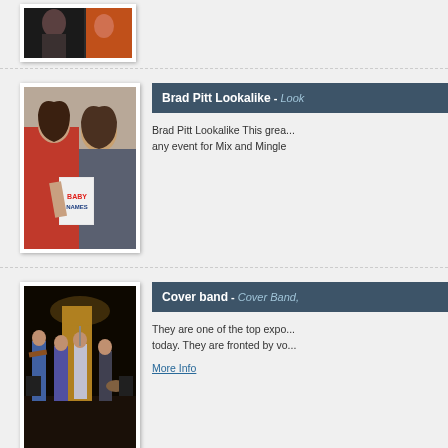[Figure (photo): Partial photo of two people, cut off at top of page]
[Figure (photo): Brad Pitt lookalike with a woman in red dress holding a Baby Names book]
Brad Pitt Lookalike - Lookalike
Brad Pitt Lookalike This great... any event for Mix and Mingle
[Figure (photo): Cover band performing on stage with multiple musicians and a female vocalist]
Cover band - Cover Band,
They are one of the top expo... today. They are fronted by vo...
More Info